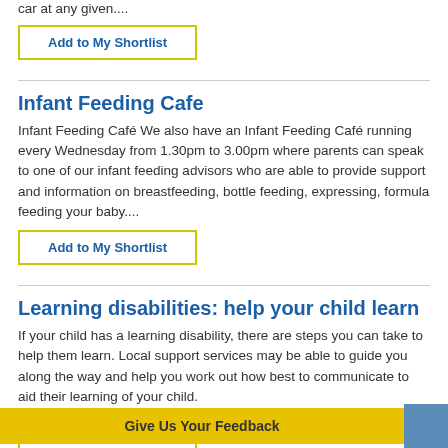car at any given....
Add to My Shortlist
Infant Feeding Cafe
Infant Feeding Café We also have an Infant Feeding Café running every Wednesday from 1.30pm to 3.00pm where parents can speak to one of our infant feeding advisors who are able to provide support and information on breastfeeding, bottle feeding, expressing, formula feeding your baby....
Add to My Shortlist
Learning disabilities: help your child learn
If your child has a learning disability, there are steps you can take to help them learn. Local support services may be able to guide you along the way and help you work out how best to communicate to aid their learning of your child.
Add to My Shortlist
Give Us Your Feedback